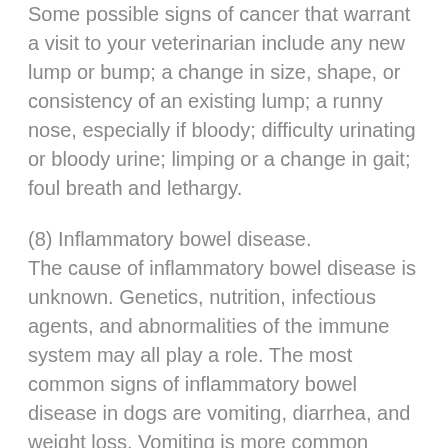Some possible signs of cancer that warrant a visit to your veterinarian include any new lump or bump; a change in size, shape, or consistency of an existing lump; a runny nose, especially if bloody; difficulty urinating or bloody urine; limping or a change in gait; foul breath and lethargy.
(8) Inflammatory bowel disease.
The cause of inflammatory bowel disease is unknown. Genetics, nutrition, infectious agents, and abnormalities of the immune system may all play a role. The most common signs of inflammatory bowel disease in dogs are vomiting, diarrhea, and weight loss. Vomiting is more common when the stomach or upper portion of the small intestine are affected and diarrhea is more common when the colon is involved. There is an increase in the frequency of defecation, but less stool is produced each time. There is often increased mucous or some blood in the stool. Sometimes stools become loose. Many times the